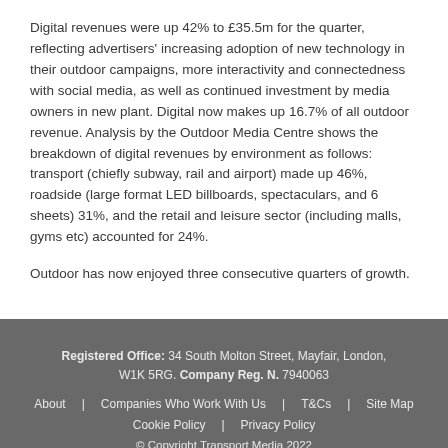Digital revenues were up 42% to £35.5m for the quarter, reflecting advertisers' increasing adoption of new technology in their outdoor campaigns, more interactivity and connectedness with social media, as well as continued investment by media owners in new plant. Digital now makes up 16.7% of all outdoor revenue. Analysis by the Outdoor Media Centre shows the breakdown of digital revenues by environment as follows: transport (chiefly subway, rail and airport) made up 46%, roadside (large format LED billboards, spectaculars, and 6 sheets) 31%, and the retail and leisure sector (including malls, gyms etc) accounted for 24%.
Outdoor has now enjoyed three consecutive quarters of growth.
Registered Office: 34 South Molton Street, Mayfair, London, W1K 5RG. Company Reg. N. 7940063 | About | Companies Who Work With Us | T&Cs | Site Map | Cookie Policy | Privacy Policy | © Copyright Transport Media 2022